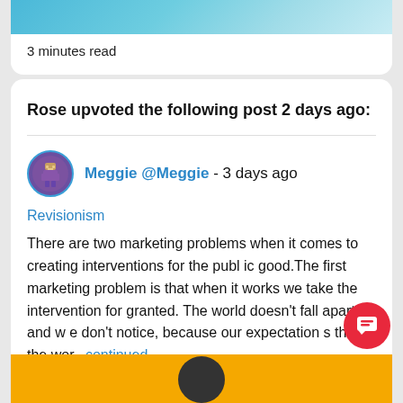[Figure (photo): Partial blue/teal image at top of card]
3 minutes read
Rose upvoted the following post 2 days ago:
[Figure (illustration): Circular avatar with purple background and pixel-art figure, with blue border, belonging to user Meggie @Meggie]
Meggie @Meggie - 3 days ago
Revisionism
There are two marketing problems when it comes to creating interventions for the public good.The first marketing problem is that when it works we take the intervention for granted. The world doesn't fall apart, and we don't notice, because our expectations that the wor...continued